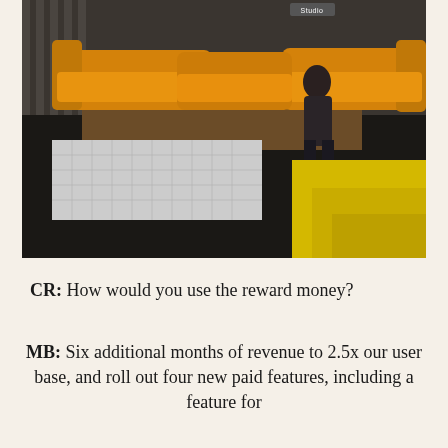[Figure (photo): Interior photo showing a stylish space with orange/mustard velvet curved sofas, white tiled stepped platform, yellow stairs, and a person standing on the steps. A 'Studio' sign is visible in the background.]
CR: How would you use the reward money?
MB: Six additional months of revenue to 2.5x our user base, and roll out four new paid features, including a feature for